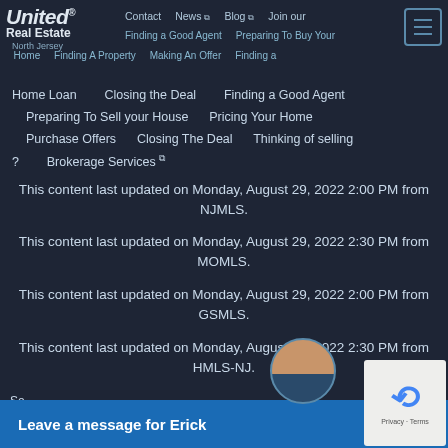United Real Estate North Jersey — navigation bar with logo and menu links
Home Loan    Closing the Deal    Finding a Good Agent
Preparing To Sell your House    Pricing Your Home
Purchase Offers    Closing The Deal    Thinking of selling ?
Brokerage Services
This content last updated on Monday, August 29, 2022 2:00 PM from NJMLS.
This content last updated on Monday, August 29, 2022 2:30 PM from MOMLS.
This content last updated on Monday, August 29, 2022 2:00 PM from GSMLS.
This content last updated on Monday, August 29, 2022 2:30 PM from HMLS-NJ.
So...
Leave a message for Erick